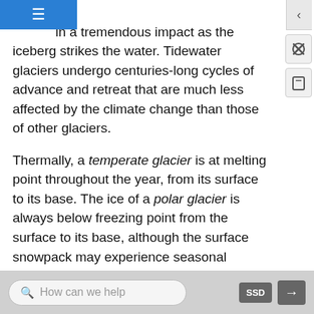glaciers carve above sea level, which results in a tremendous impact as the iceberg strikes the water. Tidewater glaciers undergo centuries-long cycles of advance and retreat that are much less affected by the climate change than those of other glaciers.
Thermally, a temperate glacier is at melting point throughout the year, from its surface to its base. The ice of a polar glacier is always below freezing point from the surface to its base, although the surface snowpack may experience seasonal melting. A sub-polar glacier includes both temperate and polar ice, depending on depth beneath the surface and position along the length of the glacier. In a similar way, the thermal regime of a glacier is often described by the